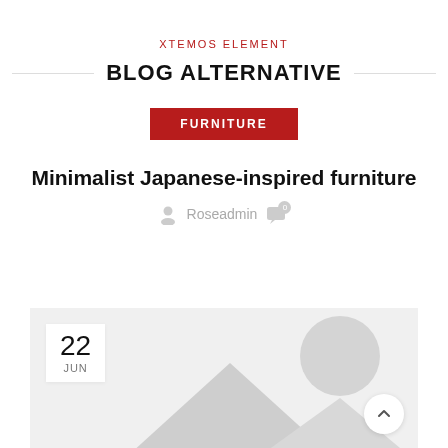XTEMOS ELEMENT
BLOG ALTERNATIVE
FURNITURE
Minimalist Japanese-inspired furniture
Roseadmin  0
[Figure (illustration): Placeholder image with mountains silhouette and circle, typical image placeholder graphic. Contains a date badge showing 22 JUN in the top-left corner.]
22 JUN